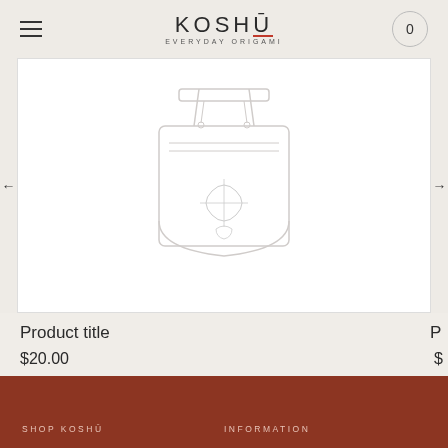KOSHU EVERYDAY ORIGAMI
[Figure (illustration): Product image carousel showing a bag/tote with drawstring design, outlined in light gray lines on white background. Navigation arrows on left and right sides.]
Product title
$20.00
SHOP KOSHU   INFORMATION